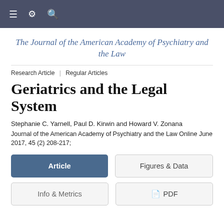≡ ⚙ 🔍
The Journal of the American Academy of Psychiatry and the Law
Research Article | Regular Articles
Geriatrics and the Legal System
Stephanie C. Yarnell, Paul D. Kirwin and Howard V. Zonana
Journal of the American Academy of Psychiatry and the Law Online June 2017, 45 (2) 208-217;
Article | Figures & Data | Info & Metrics | PDF